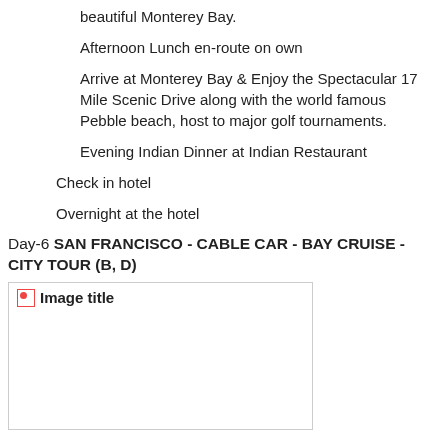beautiful Monterey Bay.
Afternoon Lunch en-route on own
Arrive at Monterey Bay & Enjoy the Spectacular 17 Mile Scenic Drive along with the world famous Pebble beach, host to major golf tournaments.
Evening Indian Dinner at Indian Restaurant
Check in hotel
Overnight at the hotel
Day-6 SAN FRANCISCO - CABLE CAR - BAY CRUISE - CITY TOUR (B, D)
[Figure (photo): Image placeholder labeled 'Image title' for San Francisco day tour]